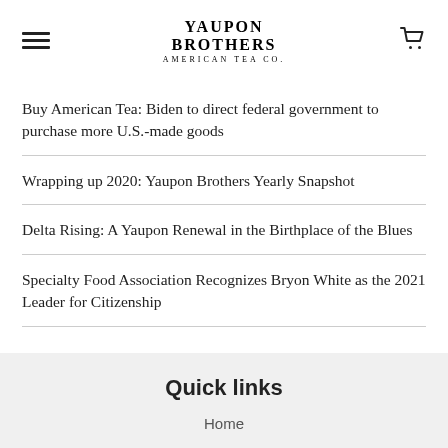YAUPON BROTHERS AMERICAN TEA CO.
Buy American Tea: Biden to direct federal government to purchase more U.S.-made goods
Wrapping up 2020: Yaupon Brothers Yearly Snapshot
Delta Rising: A Yaupon Renewal in the Birthplace of the Blues
Specialty Food Association Recognizes Bryon White as the 2021 Leader for Citizenship
Quick links
Home